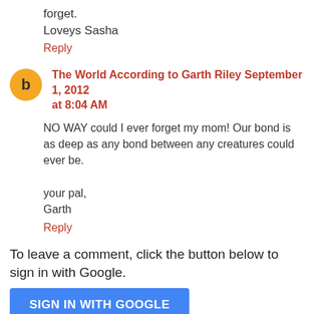forget.
Loveys Sasha
Reply
The World According to Garth Riley September 1, 2012 at 8:04 AM
NO WAY could I ever forget my mom! Our bond is as deep as any bond between any creatures could ever be.

your pal,
Garth
Reply
To leave a comment, click the button below to sign in with Google.
SIGN IN WITH GOOGLE